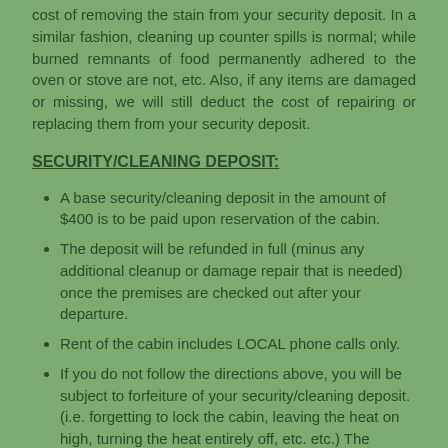cost of removing the stain from your security deposit. In a similar fashion, cleaning up counter spills is normal; while burned remnants of food permanently adhered to the oven or stove are not, etc. Also, if any items are damaged or missing, we will still deduct the cost of repairing or replacing them from your security deposit.
SECURITY/CLEANING DEPOSIT:
A base security/cleaning deposit in the amount of $400 is to be paid upon reservation of the cabin.
The deposit will be refunded in full (minus any additional cleanup or damage repair that is needed) once the premises are checked out after your departure.
Rent of the cabin includes LOCAL phone calls only.
If you do not follow the directions above, you will be subject to forfeiture of your security/cleaning deposit. (i.e. forgetting to lock the cabin, leaving the heat on high, turning the heat entirely off, etc. etc.) The cost of remedying any of these problems will be deducted from your security/cleaning...